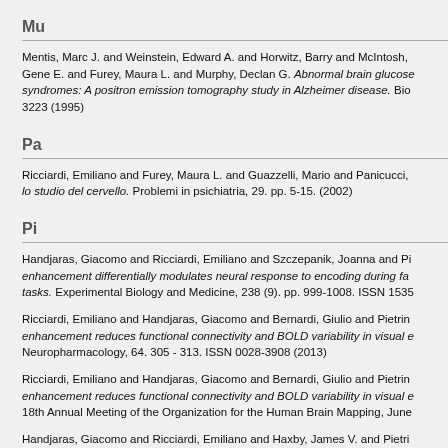Mu
Mentis, Marc J. and Weinstein, Edward A. and Horwitz, Barry and McIntosh, Gene E. and Furey, Maura L. and Murphy, Declan G. Abnormal brain glucose syndromes: A positron emission tomography study in Alzheimer disease. Bio 3223 (1995)
Pa
Ricciardi, Emiliano and Furey, Maura L. and Guazzelli, Mario and Panicucci, lo studio del cervello. Problemi in psichiatria, 29. pp. 5-15. (2002)
Pi
Handjaras, Giacomo and Ricciardi, Emiliano and Szczepanik, Joanna and Pi enhancement differentially modulates neural response to encoding during fa tasks. Experimental Biology and Medicine, 238 (9). pp. 999-1008. ISSN 1535
Ricciardi, Emiliano and Handjaras, Giacomo and Bernardi, Giulio and Pietrin enhancement reduces functional connectivity and BOLD variability in visual e Neuropharmacology, 64. 305 - 313. ISSN 0028-3908 (2013)
Ricciardi, Emiliano and Handjaras, Giacomo and Bernardi, Giulio and Pietrin enhancement reduces functional connectivity and BOLD variability in visual e 18th Annual Meeting of the Organization for the Human Brain Mapping, June
Handjaras, Giacomo and Ricciardi, Emiliano and Haxby, James V. and Pietri